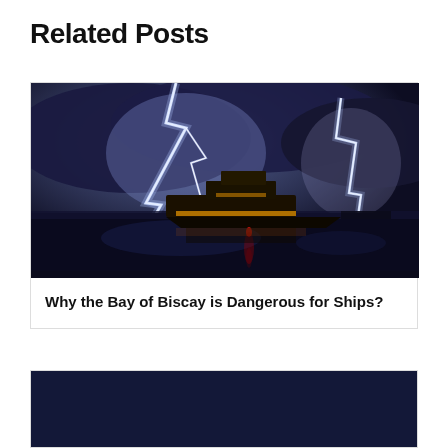Related Posts
[Figure (photo): A ship on dark water at night with dramatic lightning strikes in the background, illuminating a stormy sky. Red light reflects on the water.]
Why the Bay of Biscay is Dangerous for Ships?
[Figure (photo): Partially visible second card image, cut off at bottom of page.]